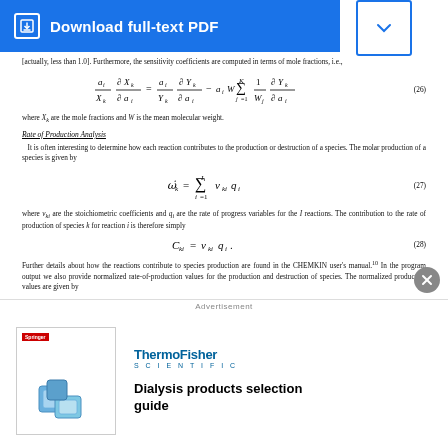[Figure (other): Blue download button bar with document icon and 'Download full-text PDF' text, plus a chevron dropdown box]
[actually, less than 1.0]. Furthermore, the sensitivity coefficients are computed in terms of mole fractions, i.e.,
where X_k are the mole fractions and W is the mean molecular weight.
Rate of Production Analysis
It is often interesting to determine how each reaction contributes to the production or destruction of a species. The molar production of a species is given by
where ν_ki are the stoichiometric coefficients and q_i are the rate of progress variables for the I reactions. The contribution to the rate of production of species k for reaction i is therefore simply
Further details about how the reactions contribute to species production are found in the CHEMKIN user's manual.¹⁰ In the program output we also provide normalized rate-of-production values for the production and destruction of species. The normalized production values are given by
[Figure (other): Advertisement overlay: ThermoFisher Scientific Dialysis products selection guide with product image]